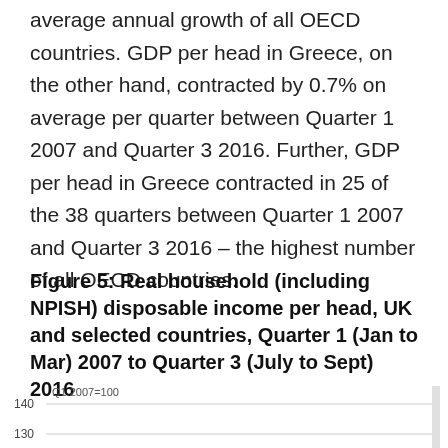average annual growth of all OECD countries. GDP per head in Greece, on the other hand, contracted by 0.7% on average per quarter between Quarter 1 2007 and Quarter 3 2016. Further, GDP per head in Greece contracted in 25 of the 38 quarters between Quarter 1 2007 and Quarter 3 2016 – the highest number of all OECD countries.
Figure 5: Real household (including NPISH) disposable income per head, UK and selected countries, Quarter 1 (Jan to Mar) 2007 to Quarter 3 (July to Sept) 2016
[Figure (line-chart): Partial line chart showing values at 140 and 130 on the y-axis, chart is cropped at bottom of page]